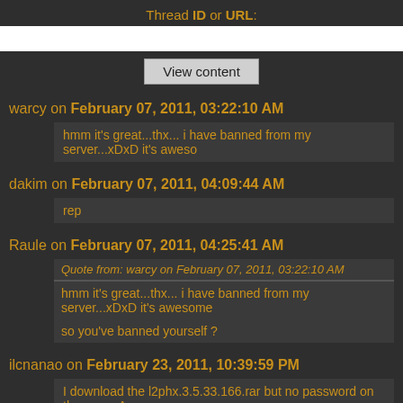Thread ID or URL:
View content
warcy on February 07, 2011, 03:22:10 AM
hmm it's great...thx... i have banned from my server...xDxD it's awesome
dakim on February 07, 2011, 04:09:44 AM
rep
Raule on February 07, 2011, 04:25:41 AM
Quote from: warcy on February 07, 2011, 03:22:10 AM
hmm it's great...thx... i have banned from my server...xDxD it's awesome
so you've banned yourself ?
ilcnanao on February 23, 2011, 10:39:59 PM
I download the l2phx.3.5.33.166.rar but no password on the page. A
Raule on February 23, 2011, 11:24:03 PM